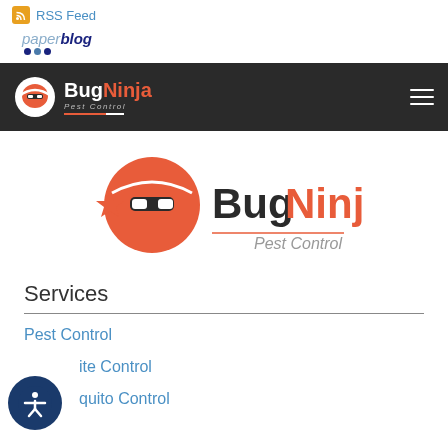[Figure (logo): RSS Feed icon - orange square with RSS symbol]
RSS Feed
[Figure (logo): Paperblog logo with dots]
[Figure (logo): BugNinja Pest Control navigation bar logo with ninja icon]
[Figure (logo): BugNinja Pest Control large centered logo with red ninja circle and wordmark]
Services
Pest Control
Termite Control
Mosquito Control